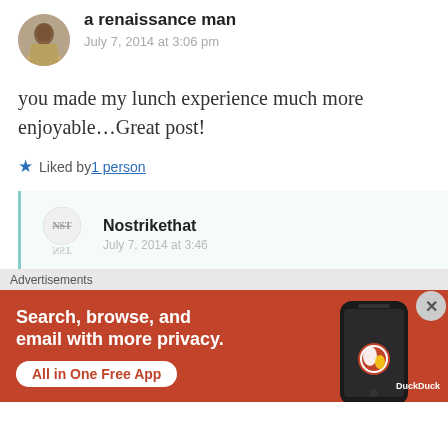a renaissance man
July 7, 2014 at 3:06 pm
you made my lunch experience much more enjoyable…Great post!
Liked by 1 person
[Figure (other): Avatar/profile icon for Nostrikethat with NST strikethrough logo]
Nostrikethat
Advertisements
[Figure (other): DuckDuckGo advertisement banner: Search, browse, and email with more privacy. All in One Free App. DuckDuckGo logo on phone graphic.]